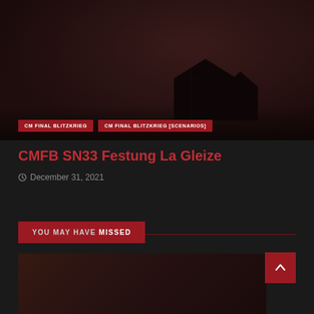[Figure (photo): Dark, dimly lit landscape photograph showing silhouettes of buildings and a utility pole against a dark reddish-brown sky]
CM FINAL BLITZKRIEG
CM FINAL BLITZKRIEG [SCENARIOS]
CMFB SN33 Festung La Gleize
December 31, 2021
YOU MAY HAVE MISSED
[Figure (photo): Dark, dimly lit photograph, appears to show a military or historical scene, bottom portion of page]